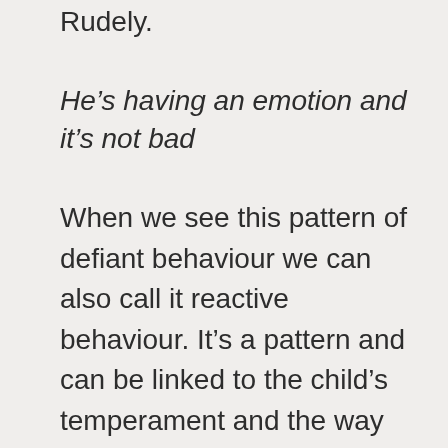Rudely.
He’s having an emotion and it’s not bad
When we see this pattern of defiant behaviour we can also call it reactive behaviour. It’s a pattern and can be linked to the child’s temperament and the way we have reacted to it in the past. Instead of